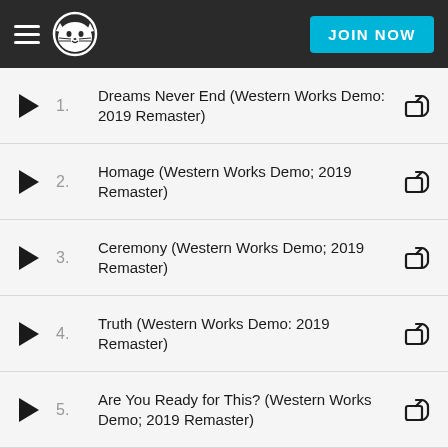Napster — JOIN NOW
1. Dreams Never End (Western Works Demo: 2019 Remaster)
2. Homage (Western Works Demo; 2019 Remaster)
3. Ceremony (Western Works Demo; 2019 Remaster)
4. Truth (Western Works Demo: 2019 Remaster)
5. Are You Ready for This? (Western Works Demo; 2019 Remaster)